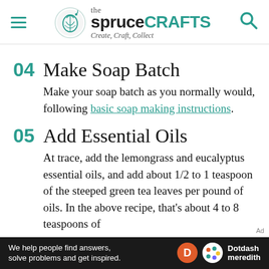the spruce CRAFTS — Create, Craft, Collect
04 Make Soap Batch
Make your soap batch as you normally would, following basic soap making instructions.
05 Add Essential Oils
At trace, add the lemongrass and eucalyptus essential oils, and add about 1/2 to 1 teaspoon of the steeped green tea leaves per pound of oils. In the above recipe, that's about 4 to 8 teaspoons of
We help people find answers, solve problems and get inspired. Dotdash meredith